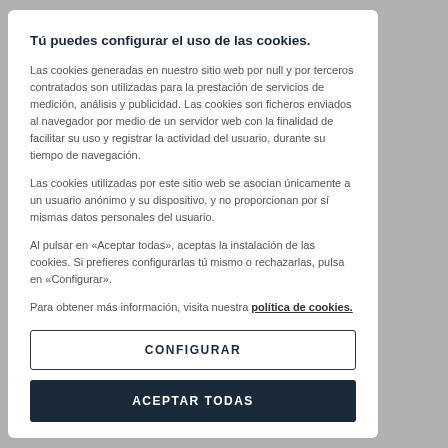Tú puedes configurar el uso de las cookies.
Las cookies generadas en nuestro sitio web por null y por terceros contratados son utilizadas para la prestación de servicios de medición, análisis y publicidad. Las cookies son ficheros enviados al navegador por medio de un servidor web con la finalidad de facilitar su uso y registrar la actividad del usuario, durante su tiempo de navegación.
Las cookies utilizadas por este sitio web se asocian únicamente a un usuario anónimo y su dispositivo, y no proporcionan por sí mismas datos personales del usuario.
Al pulsar en «Aceptar todas», aceptas la instalación de las cookies. Si prefieres configurarlas tú mismo o rechazarlas, pulsa en «Configurar».
Para obtener más información, visita nuestra política de cookies.
CONFIGURAR
ACEPTAR TODAS